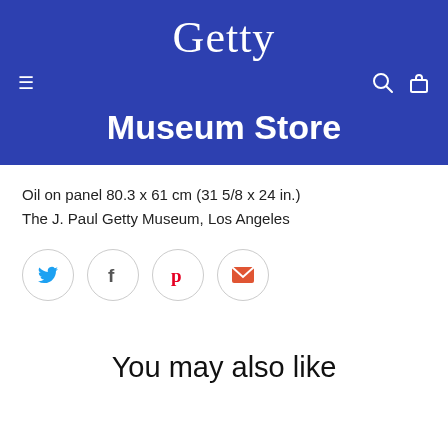Getty
Museum Store
Oil on panel 80.3 x 61 cm (31 5/8 x 24 in.)
The J. Paul Getty Museum, Los Angeles
[Figure (infographic): Social sharing buttons: Twitter (blue bird), Facebook (f), Pinterest (red P), Email (red envelope)]
You may also like